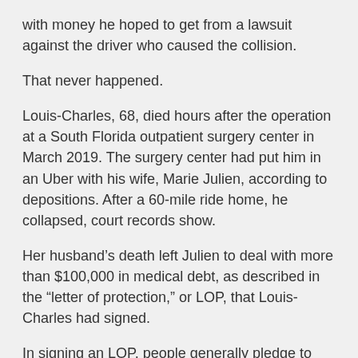with money he hoped to get from a lawsuit against the driver who caused the collision.
That never happened.
Louis-Charles, 68, died hours after the operation at a South Florida outpatient surgery center in March 2019. The surgery center had put him in an Uber with his wife, Marie Julien, according to depositions. After a 60-mile ride home, he collapsed, court records show.
Her husband’s death left Julien to deal with more than $100,000 in medical debt, as described in the “letter of protection,” or LOP, that Louis-Charles had signed.
In signing an LOP, people generally pledge to cover the costs of their care even if it exceeds what they win in a lawsuit or other settlement— and even if